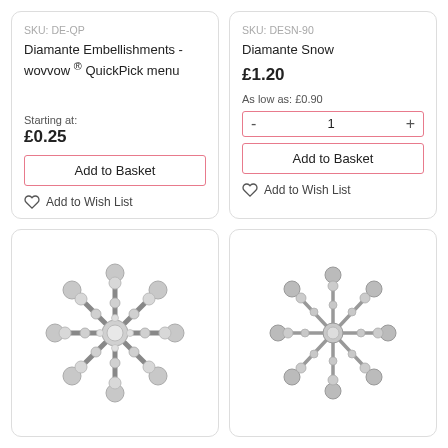SKU: DE-QP
Diamante Embellishments - wovvow ® QuickPick menu
Starting at:
£0.25
Add to Basket
Add to Wish List
SKU: DESN-90
Diamante Snow
£1.20
As low as: £0.90
- 1 +
Add to Basket
Add to Wish List
[Figure (photo): Snowflake-shaped diamante embellishment made of crystal/rhinestone stones, large size]
[Figure (photo): Snowflake-shaped diamante embellishment made of crystal/rhinestone stones, smaller size]